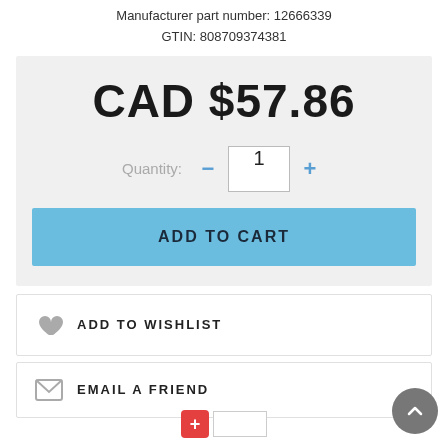Manufacturer part number: 12666339
GTIN: 808709374381
CAD $57.86
Quantity: - 1 +
ADD TO CART
ADD TO WISHLIST
EMAIL A FRIEND